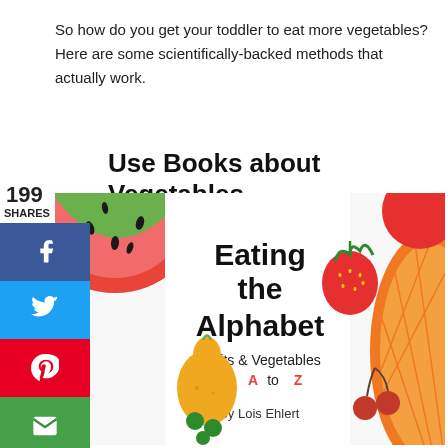So how do you get your toddler to eat more vegetables? Here are some scientifically-backed methods that actually work.
Use Books about Vegetables
[Figure (illustration): Book cover of 'Eating the Alphabet: Fruits & Vegetables from A to Z by Lois Ehlert' showing colorful illustrated fruits and vegetables including watermelon, strawberry, pear, cherries, and oranges on a white background.]